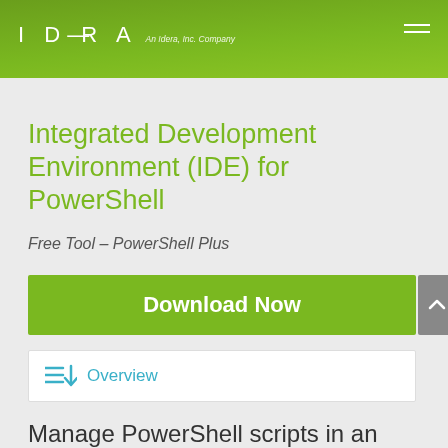IDERA An Idera, Inc. Company
Integrated Development Environment (IDE) for PowerShell
Free Tool – PowerShell Plus
Download Now
Overview
Manage PowerShell scripts in an